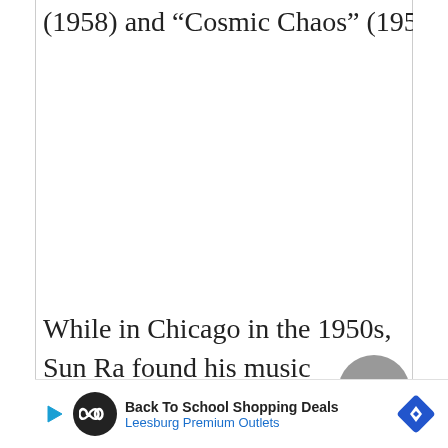(1958) and "Cosmic Chaos" (1958).
While in Chicago in the 1950s, Sun Ra found his music rejected by established jazz musicians, but he pro...
[Figure (screenshot): Back To School Shopping Deals - Leesburg Premium Outlets advertisement banner with play button, circular logo, and blue diamond navigation icon]